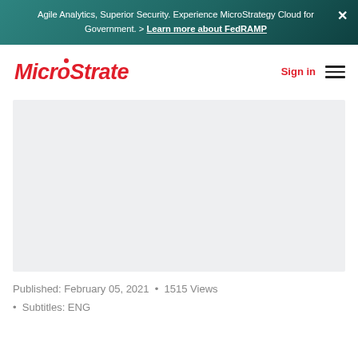Agile Analytics, Superior Security. Experience MicroStrategy Cloud for Government. > Learn more about FedRAMP
[Figure (logo): MicroStrategy logo in red italic bold font]
Sign in
[Figure (other): Video player area (light gray placeholder)]
Published: February 05, 2021  •  1515 Views
• Subtitles: ENG